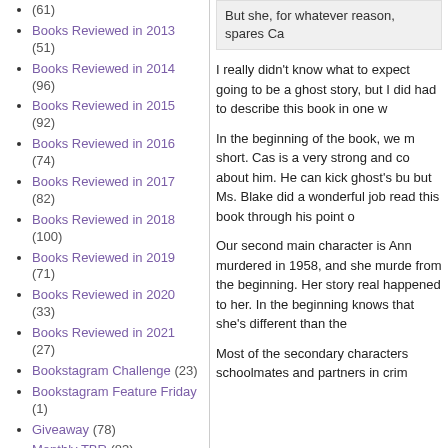Books Reviewed in 2013 (51)
Books Reviewed in 2014 (96)
Books Reviewed in 2015 (92)
Books Reviewed in 2016 (74)
Books Reviewed in 2017 (82)
Books Reviewed in 2018 (100)
Books Reviewed in 2019 (71)
Books Reviewed in 2020 (33)
Books Reviewed in 2021 (27)
Bookstagram Challenge (23)
Bookstagram Feature Friday (1)
Giveaway (78)
Monthly TBR (83)
Monthly Wrap Up (56)
Most Anticipated Monthly
But she, for whatever reason, spares Ca
I really didn't know what to expect going to be a ghost story, but I did had to describe this book in one w
In the beginning of the book, we m short. Cas is a very strong and co about him. He can kick ghost's bu but Ms. Blake did a wonderful job read this book through his point o
Our second main character is Ann murdered in 1958, and she murde from the beginning. Her story real happened to her. In the beginning knows that she's different than the
Most of the secondary characters schoolmates and partners in crim